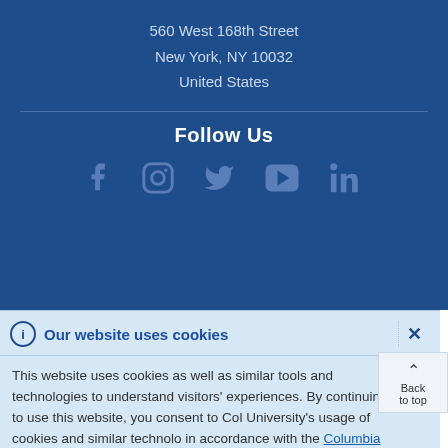560 West 168th Street
New York, NY 10032
United States
Follow Us
[Figure (infographic): Social media icons: Facebook, Instagram, Twitter, YouTube, LinkedIn]
Our website uses cookies
This website uses cookies as well as similar tools and technologies to understand visitors' experiences. By continuing to use this website, you consent to Columbia University's usage of cookies and similar technologies in accordance with the Columbia University Website Cookie Notice.